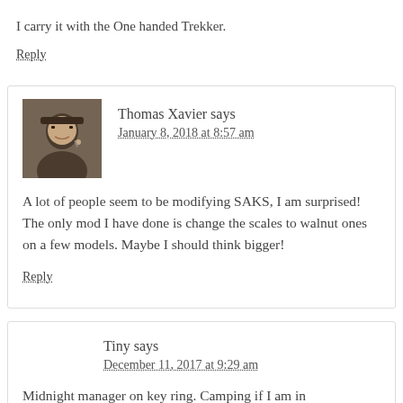I carry it with the One handed Trekker.
Reply
Thomas Xavier says January 8, 2018 at 8:57 am
A lot of people seem to be modifying SAKS, I am surprised! The only mod I have done is change the scales to walnut ones on a few models. Maybe I should think bigger!
Reply
Tiny says December 11, 2017 at 9:29 am
Midnight manager on key ring. Camping if I am in